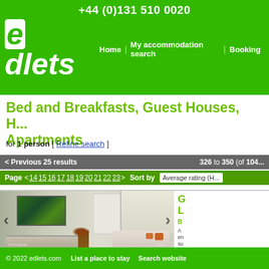+44 (0)131 510 0020 | edlets | Home | My accommodation search | Booking
Bed and Breakfasts, Guest Houses, H... Apartments
for 1 person [ Refine search ]
< Previous 25 results  326 to 350 (of 104...
Page  <14 15 16 17 18 19 20 21 22 23>  Sort by  Average rating (H...
[Figure (photo): Interior living room photo showing a room with a wall-mounted TV/fish tank display, fireplace, white wardrobe, bay windows with shutters, and a white sofa with orange cushions. Previous and Next navigation arrows visible.]
G L B... A en su bo th...
© 2022 edlets.com  List a place to stay  Search website